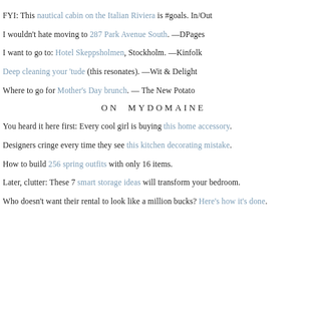FYI: This nautical cabin on the Italian Riviera is #goals. In/Out
I wouldn't hate moving to 287 Park Avenue South. —DPages
I want to go to: Hotel Skeppsholmen, Stockholm. —Kinfolk
Deep cleaning your 'tude (this resonates). —Wit & Delight
Where to go for Mother's Day brunch. — The New Potato
ON MYDOMAINE
You heard it here first: Every cool girl is buying this home accessory.
Designers cringe every time they see this kitchen decorating mistake.
How to build 256 spring outfits with only 16 items.
Later, clutter: These 7 smart storage ideas will transform your bedroom.
Who doesn't want their rental to look like a million bucks? Here's how it's done.